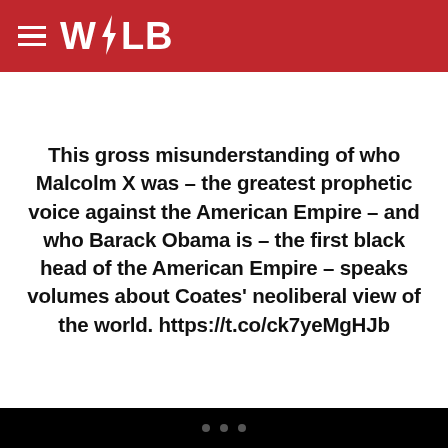WOLB
This gross misunderstanding of who Malcolm X was – the greatest prophetic voice against the American Empire – and who Barack Obama is – the first black head of the American Empire – speaks volumes about Coates' neoliberal view of the world. https://t.co/ck7yeMgHJb